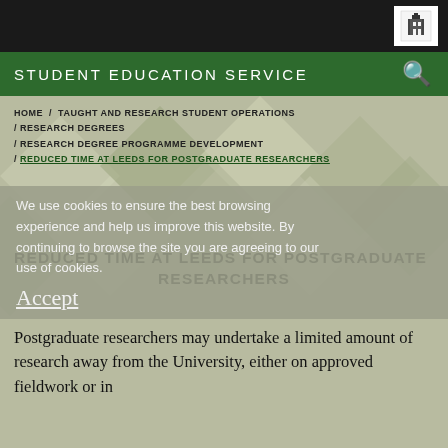STUDENT EDUCATION SERVICE
HOME / TAUGHT AND RESEARCH STUDENT OPERATIONS / RESEARCH DEGREES / RESEARCH DEGREE PROGRAMME DEVELOPMENT / REDUCED TIME AT LEEDS FOR POSTGRADUATE RESEARCHERS
We use cookies to ensure the best browsing experience and help us improve this website. By continuing to browse the site you are agreeing to our use of cookies.
Accept
REDUCED TIME AT LEEDS FOR POSTGRADUATE RESEARCHERS
Postgraduate researchers may undertake a limited amount of research away from the University, either on approved fieldwork or in